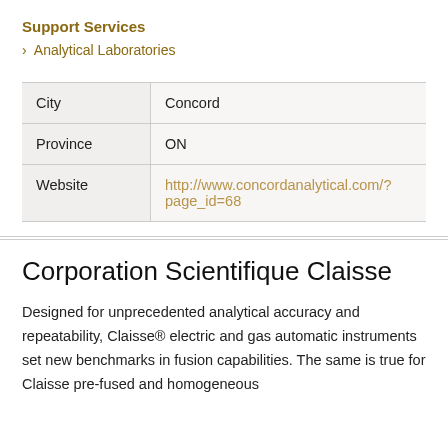Support Services
> Analytical Laboratories
| City | Concord |
| Province | ON |
| Website | http://www.concordanalytical.com/?page_id=68 |
Corporation Scientifique Claisse
Designed for unprecedented analytical accuracy and repeatability, Claisse® electric and gas automatic instruments set new benchmarks in fusion capabilities. The same is true for Claisse pre-fused and homogeneous